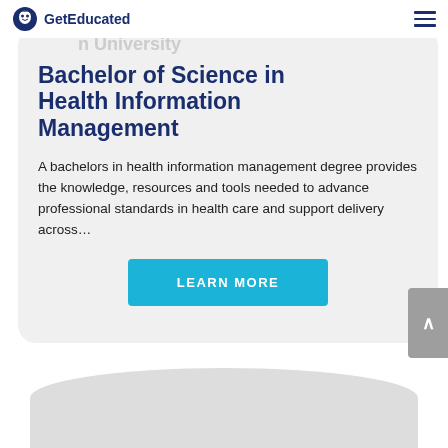GetEducated
Bachelor of Science in Health Information Management
A bachelors in health information management degree provides the knowledge, resources and tools needed to advance professional standards in health care and support delivery across…
LEARN MORE